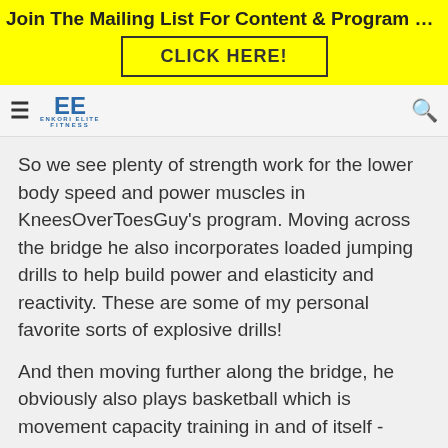Join The Mailing List For Content & Program Upda...
CLICK HERE!
[Figure (logo): Enkori Elite Fitness logo with double E letters in blue]
So we see plenty of strength work for the lower body speed and power muscles in KneesOverToesGuy's program. Moving across the bridge he also incorporates loaded jumping drills to help build power and elasticity and reactivity. These are some of my personal favorite sorts of explosive drills!
And then moving further along the bridge, he obviously also plays basketball which is movement capacity training in and of itself -